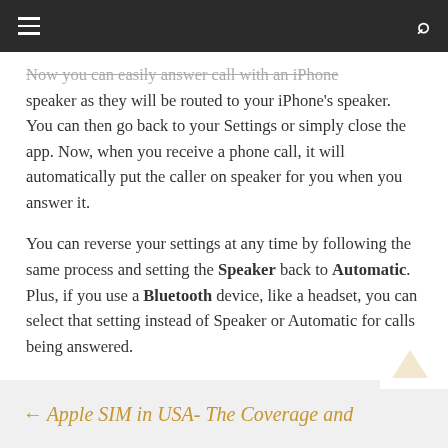≡  [menu icon]  [search icon]
Now you can easily answer call with an iPhone speaker as they will be routed to your iPhone's speaker.  You can then go back to your Settings or simply close the app. Now, when you receive a phone call, it will automatically put the caller on speaker for you when you answer it.
You can reverse your settings at any time by following the same process and setting the Speaker back to Automatic. Plus, if you use a Bluetooth device, like a headset, you can select that setting instead of Speaker or Automatic for calls being answered.
← Apple SIM in USA- The Coverage and